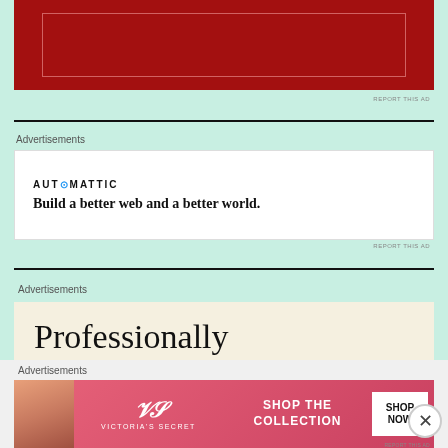[Figure (other): Red banner/advertisement box with inner border on mint green background]
REPORT THIS AD
Advertisements
[Figure (other): Automattic advertisement: logo and tagline 'Build a better web and a better world.']
REPORT THIS AD
Advertisements
[Figure (other): Advertisement with cream background showing text 'Professionally']
Advertisements
[Figure (other): Victoria's Secret advertisement: Shop the Collection - Shop Now banner with model photo]
REPORT THIS AD